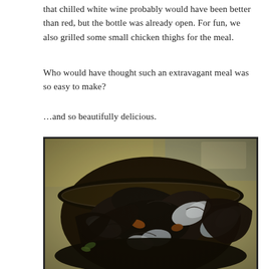that chilled white wine probably would have been better than red, but the bottle was already open. For fun, we also grilled some small chicken thighs for the meal.
Who would have thought such an extravagant meal was so easy to make?
…and so beautifully delicious.
[Figure (photo): A bowl of steamed mussels with dark shells, photographed from above in a warm yellow-tinted room setting. The image has a slightly vintage, Instagram-filtered look.]